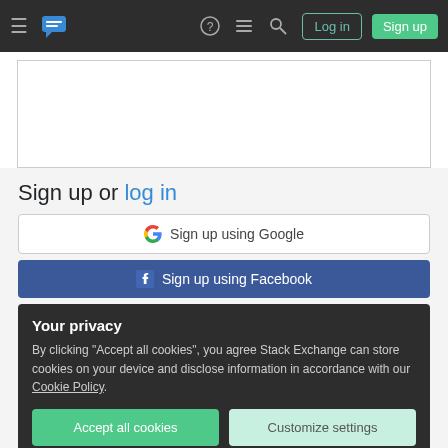Stack Exchange navigation bar with logo, Log in and Sign up buttons
[Figure (screenshot): White content placeholder box]
Sign up or log in
[Figure (screenshot): Sign up using Google button]
[Figure (screenshot): Sign up using Facebook button]
Your privacy
By clicking "Accept all cookies", you agree Stack Exchange can store cookies on your device and disclose information in accordance with our Cookie Policy.
Accept all cookies
Customize settings